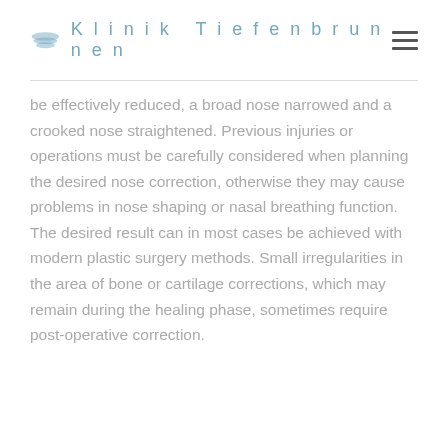Klinik Tiefenbrunnen
be effectively reduced, a broad nose narrowed and a crooked nose straightened. Previous injuries or operations must be carefully considered when planning the desired nose correction, otherwise they may cause problems in nose shaping or nasal breathing function. The desired result can in most cases be achieved with modern plastic surgery methods. Small irregularities in the area of bone or cartilage corrections, which may remain during the healing phase, sometimes require post-operative correction.